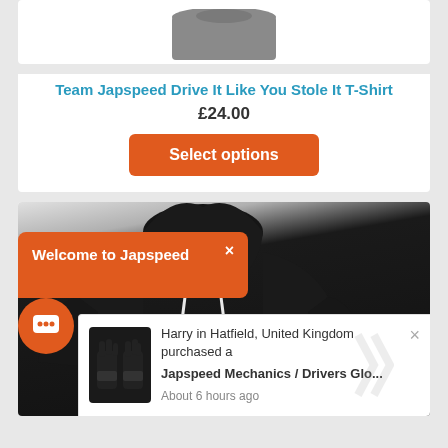[Figure (photo): Grey t-shirt product image, top portion visible]
Team Japspeed Drive It Like You Stole It T-Shirt
£24.00
Select options
[Figure (photo): Black Japspeed hoodie/sweatshirt with hood up, showing Japspeed logo on front]
Welcome to Japspeed
Harry in Hatfield, United Kingdom purchased a
Japspeed Mechanics / Drivers Glo...
About 6 hours ago